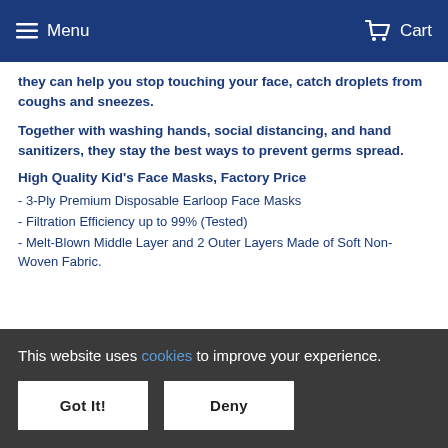Menu  Cart
they can help you stop touching your face, catch droplets from coughs and sneezes.
Together with washing hands, social distancing, and hand sanitizers, they stay the best ways to prevent germs spread.
High Quality Kid's Face Masks, Factory Price
- 3-Ply Premium Disposable Earloop Face Masks
- Filtration Efficiency up to 99% (Tested)
- Melt-Blown Middle Layer and 2 Outer Layers Made of Soft Non-Woven Fabric.
This website uses cookies to improve your experience.
Got It!  Deny